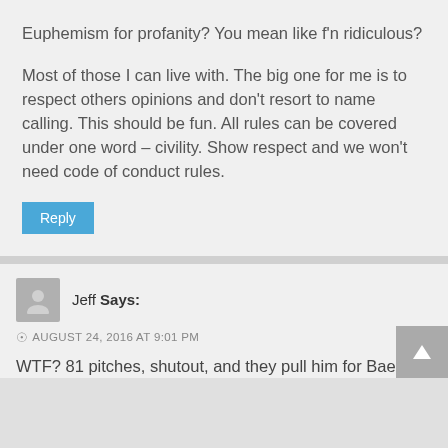Euphemism for profanity? You mean like f'n ridiculous?
Most of those I can live with. The big one for me is to respect others opinions and don't resort to name calling. This should be fun. All rules can be covered under one word – civility. Show respect and we won't need code of conduct rules.
Reply
Jeff Says:
AUGUST 24, 2016 AT 9:01 PM
WTF? 81 pitches, shutout, and they pull him for Baez?